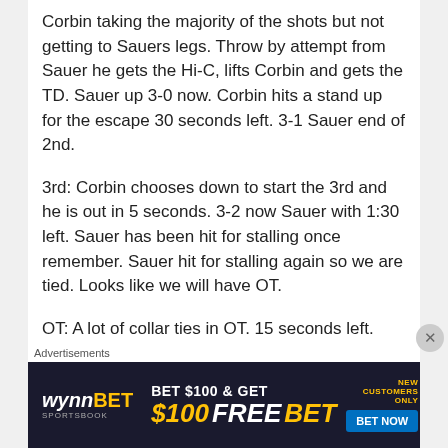Corbin taking the majority of the shots but not getting to Sauers legs. Throw by attempt from Sauer he gets the Hi-C, lifts Corbin and gets the TD. Sauer up 3-0 now. Corbin hits a stand up for the escape 30 seconds left. 3-1 Sauer end of 2nd.
3rd: Corbin chooses down to start the 3rd and he is out in 5 seconds. 3-2 now Sauer with 1:30 left. Sauer has been hit for stalling once remember. Sauer hit for stalling again so we are tied. Looks like we will have OT.
OT: A lot of collar ties in OT. 15 seconds left.
Advertisements
[Figure (other): WynnBET Sportsbook advertisement banner: BET $100 & GET $100 FREE BET, NEW CUSTOMERS ONLY, BET NOW button]